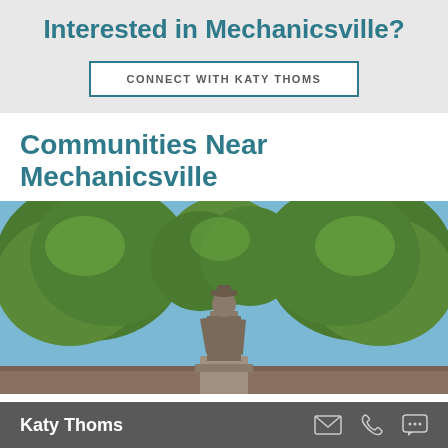Interested in Mechanicsville?
CONNECT WITH KATY THOMS
Communities Near Mechanicsville
[Figure (photo): Outdoor photo of a bronze or stone statue of a man wearing a hat, surrounded by large green leafy trees against a blue sky]
Katy Thoms